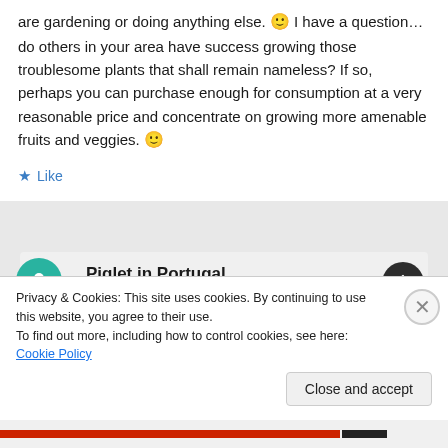are gardening or doing anything else. 🙂 I have a question…do others in your area have success growing those troublesome plants that shall remain nameless? If so, perhaps you can purchase enough for consumption at a very reasonable price and concentrate on growing more amenable fruits and veggies. 🙂
Like
Piglet in Portugal
April 24, 2012 at 8:41 am
Hi Vivian, my sense of humour is a little bizarre to
Privacy & Cookies: This site uses cookies. By continuing to use this website, you agree to their use.
To find out more, including how to control cookies, see here: Cookie Policy
Close and accept